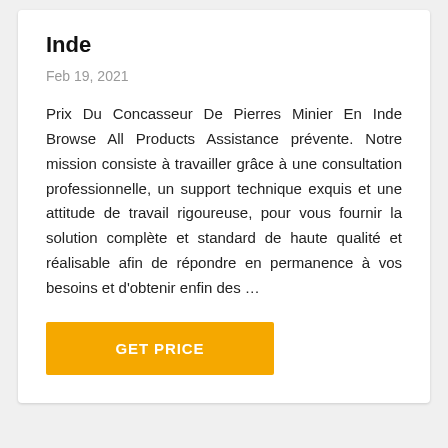Inde
Feb 19, 2021
Prix Du Concasseur De Pierres Minier En Inde Browse All Products Assistance prévente. Notre mission consiste à travailler grâce à une consultation professionnelle, un support technique exquis et une attitude de travail rigoureuse, pour vous fournir la solution complète et standard de haute qualité et réalisable afin de répondre en permanence à vos besoins et d'obtenir enfin des …
GET PRICE